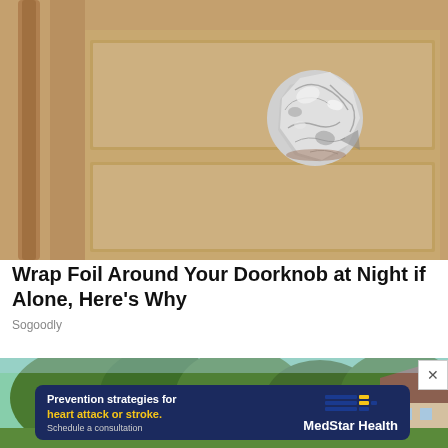[Figure (photo): Close-up photo of a door knob wrapped in crumpled aluminum foil, mounted on a beige/tan wood-grain interior door with a vertical door pull visible to the left.]
Wrap Foil Around Your Doorknob at Night if Alone, Here's Why
Sogoodly
[Figure (photo): Partial view of a residential neighborhood scene with green trees and houses, partially obscured by an advertisement banner overlay.]
[Figure (infographic): Advertisement banner for MedStar Health with dark navy blue background. Text reads: 'Prevention strategies for heart attack or stroke. Schedule a consultation' with MedStar Health logo showing colored horizontal lines in blue and yellow.]